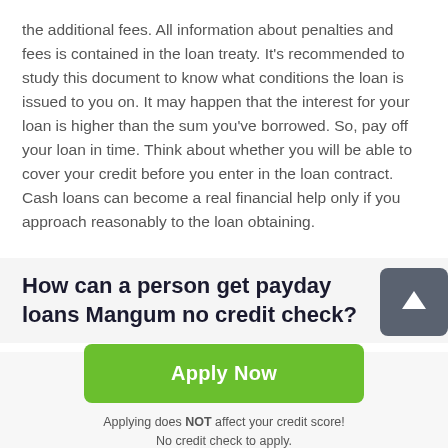the additional fees. All information about penalties and fees is contained in the loan treaty. It's recommended to study this document to know what conditions the loan is issued to you on. It may happen that the interest for your loan is higher than the sum you've borrowed. So, pay off your loan in time. Think about whether you will be able to cover your credit before you enter in the loan contract. Cash loans can become a real financial help only if you approach reasonably to the loan obtaining.
How can a person get payday loans Mangum no credit check?
[Figure (other): Grey rounded square scroll-to-top button with white upward arrow icon]
Apply Now
Applying does NOT affect your credit score!
No credit check to apply.